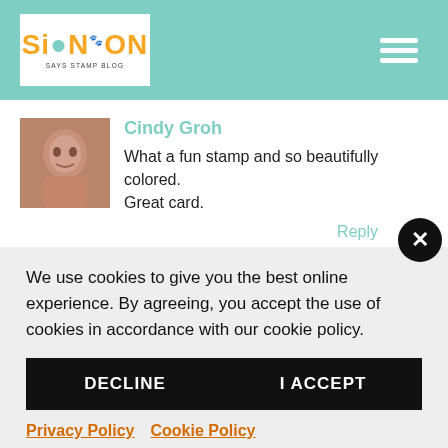Simon Says Stamp Blog
Cindy Groh
What a fun stamp and so beautifully colored. Great card.
Reply
We use cookies to give you the best online experience. By agreeing, you accept the use of cookies in accordance with our cookie policy.
DECLINE
I ACCEPT
Privacy Policy   Cookie Policy